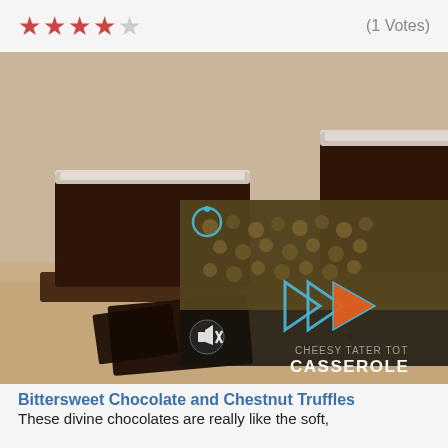★★★★☆ (1 Votes)
[Figure (photo): Photo of bittersweet chocolate blocks dusted with powdered sugar on a wooden cutting board, with a video overlay thumbnail of Cheesy Tater Tot Casserole showing play button and mute icon]
Bittersweet Chocolate and Chestnut Truffles
These divine chocolates are really like the soft,